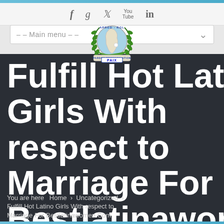[Figure (logo): APRED-RGL organization logo with olive branches and Africa map, PARDON RECONCILIATION PAIX text]
f  g  (twitter)  YouTube  in
– – Main menu – –
Fulfill Hot Latino Girls With respect to Marriage For Bestlatinawomen Com
You are here   Home  >  Uncategorized  >  Fulfill Hot Latino Girls With respect to Marriage For Bestlatinawomen Com